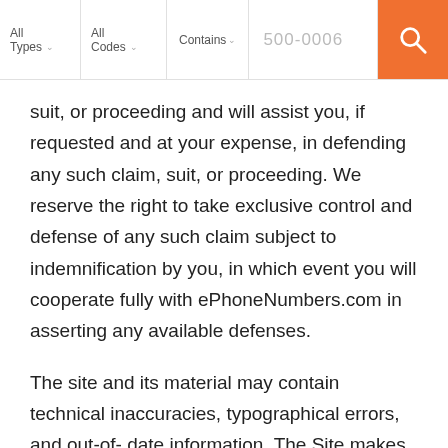All Types | All Codes | Contains | 500-0006
suit, or proceeding and will assist you, if requested and at your expense, in defending any such claim, suit, or proceeding. We reserve the right to take exclusive control and defense of any such claim subject to indemnification by you, in which event you will cooperate fully with ePhoneNumbers.com in asserting any available defenses.
The site and its material may contain technical inaccuracies, typographical errors, and out-of- date information. The Site makes no representations about the accuracy, reliability, completeness, or timeliness of the site or the material, and the site makes no warranty that the site will meet your requirements. You